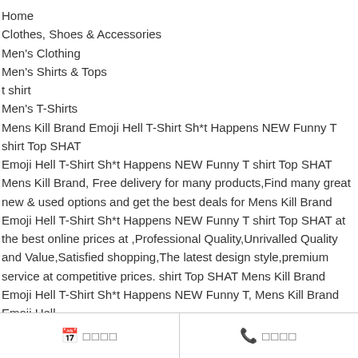Home
Clothes, Shoes & Accessories
Men's Clothing
Men's Shirts & Tops
t shirt
Men's T-Shirts
Mens Kill Brand Emoji Hell T-Shirt Sh*t Happens NEW Funny T shirt Top SHAT
Emoji Hell T-Shirt Sh*t Happens NEW Funny T shirt Top SHAT Mens Kill Brand, Free delivery for many products,Find many great new & used options and get the best deals for Mens Kill Brand Emoji Hell T-Shirt Sh*t Happens NEW Funny T shirt Top SHAT at the best online prices at ,Professional Quality,Unrivalled Quality and Value,Satisfied shopping,The latest design style,premium service at competitive prices. shirt Top SHAT Mens Kill Brand Emoji Hell T-Shirt Sh*t Happens NEW Funny T, Mens Kill Brand Emoji Hell
📅 □□□□   📞 □□□□